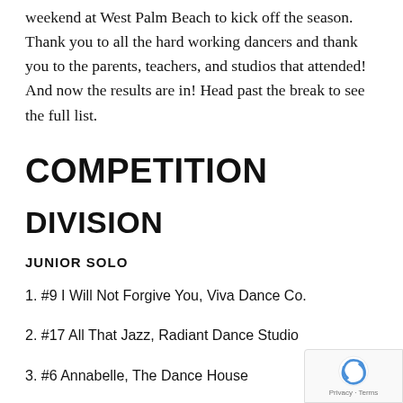weekend at West Palm Beach to kick off the season. Thank you to all the hard working dancers and thank you to the parents, teachers, and studios that attended! And now the results are in! Head past the break to see the full list.
COMPETITION
DIVISION
JUNIOR SOLO
1. #9 I Will Not Forgive You, Viva Dance Co.
2. #17 All That Jazz, Radiant Dance Studio
3. #6 Annabelle, The Dance House